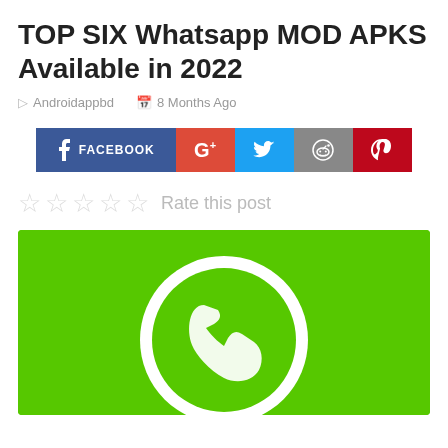TOP SIX Whatsapp MOD APKS Available in 2022
Androidappbd   8 Months Ago
[Figure (screenshot): Social share buttons: Facebook, Google+, Twitter, Reddit, Pinterest]
Rate this post (5 empty stars)
[Figure (photo): WhatsApp logo icon on green background — white phone receiver in circle]